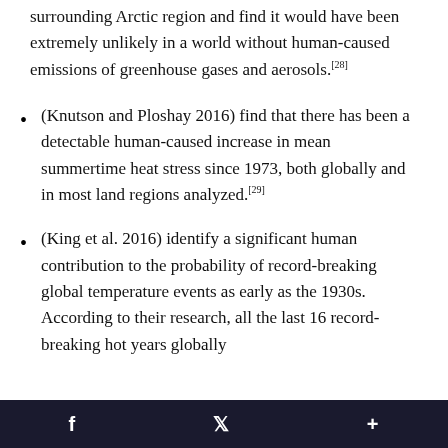surrounding Arctic region and find it would have been extremely unlikely in a world without human-caused emissions of greenhouse gases and aerosols.[28]
(Knutson and Ploshay 2016) find that there has been a detectable human-caused increase in mean summertime heat stress since 1973, both globally and in most land regions analyzed.[29]
(King et al. 2016) identify a significant human contribution to the probability of record-breaking global temperature events as early as the 1930s. According to their research, all the last 16 record-breaking hot years globally
f  t  +